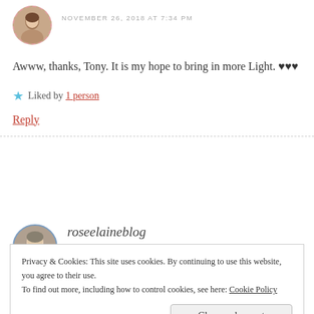[Figure (photo): Small circular avatar photo of a woman with dashed pink border, top left]
NOVEMBER 26, 2018 AT 7:34 PM
Awww, thanks, Tony. It is my hope to bring in more Light. ♥♥♥
Liked by 1 person
Reply
[Figure (photo): Circular avatar photo of a woman with blue border]
roseelaineblog
FEBRUARY 24, 2019 AT 9:03 PM
Privacy & Cookies: This site uses cookies. By continuing to use this website, you agree to their use. To find out more, including how to control cookies, see here: Cookie Policy
Close and accept
Reply